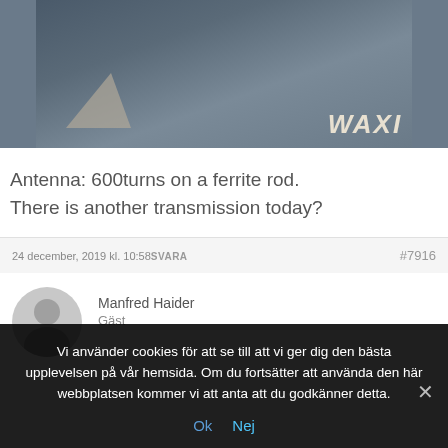[Figure (photo): Partial photo of machinery or equipment with 'WAXI' text visible in lower right corner]
Antenna: 600turns on a ferrite rod.
There is another transmission today?
24 december, 2019 kl. 10:58 SVARA  #7916
[Figure (photo): Generic user avatar (grey silhouette)]
Manfred Haider
Gäst
Vi använder cookies för att se till att vi ger dig den bästa upplevelsen på vår hemsida. Om du fortsätter att använda den här webbplatsen kommer vi att anta att du godkänner detta.
Ok  Nej